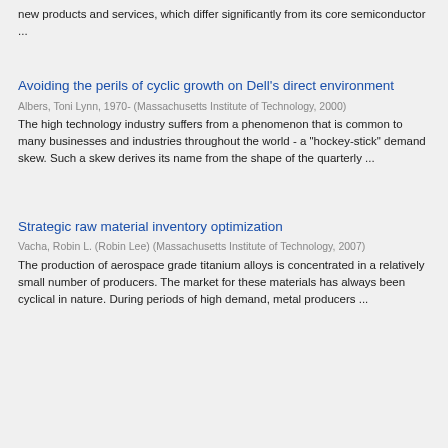new products and services, which differ significantly from its core semiconductor ...
Avoiding the perils of cyclic growth on Dell's direct environment
Albers, Toni Lynn, 1970- (Massachusetts Institute of Technology, 2000)
The high technology industry suffers from a phenomenon that is common to many businesses and industries throughout the world - a "hockey-stick" demand skew. Such a skew derives its name from the shape of the quarterly ...
Strategic raw material inventory optimization
Vacha, Robin L. (Robin Lee) (Massachusetts Institute of Technology, 2007)
The production of aerospace grade titanium alloys is concentrated in a relatively small number of producers. The market for these materials has always been cyclical in nature. During periods of high demand, metal producers ...